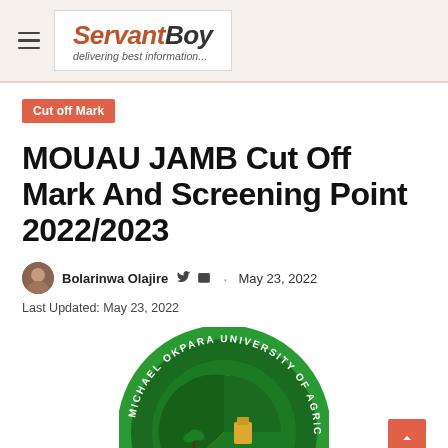ServantBoy - delivering best information...
Cut off Mark
MOUAU JAMB Cut Off Mark And Screening Point 2022/2023
Bolarinwa Olajire · May 23, 2022
Last Updated: May 23, 2022
[Figure (logo): Michael Okpara University of Agriculture circular logo, green with yellow Y-symbol and crest inside]